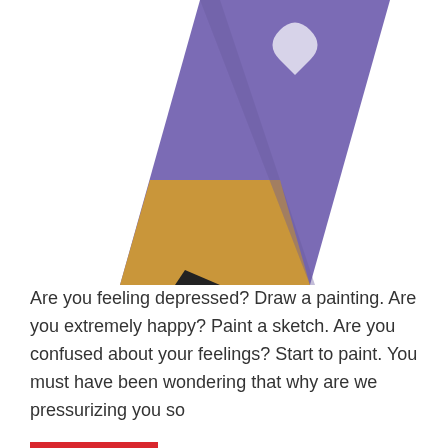[Figure (illustration): Partial illustration of a pencil tip with purple and tan/brown colors visible against white background, cropped at top]
Are you feeling depressed? Draw a painting. Are you extremely happy? Paint a sketch. Are you confused about your feelings? Start to paint. You must have been wondering that why are we pressurizing you so
READ MORE
TIPS THAT WILL HELP IN FINDING THE BEST TEAR DROP BANNER
September 19, 2019  Anastasia Udinese  Interior & Exterior Designs